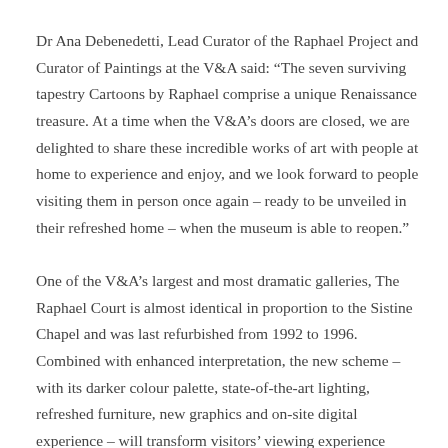Dr Ana Debenedetti, Lead Curator of the Raphael Project and Curator of Paintings at the V&A said: “The seven surviving tapestry Cartoons by Raphael comprise a unique Renaissance treasure. At a time when the V&A’s doors are closed, we are delighted to share these incredible works of art with people at home to experience and enjoy, and we look forward to people visiting them in person once again – ready to be unveiled in their refreshed home – when the museum is able to reopen.”
One of the V&A’s largest and most dramatic galleries, The Raphael Court is almost identical in proportion to the Sistine Chapel and was last refurbished from 1992 to 1996. Combined with enhanced interpretation, the new scheme – with its darker colour palette, state-of-the-art lighting, refreshed furniture, new graphics and on-site digital experience – will transform visitors’ viewing experience